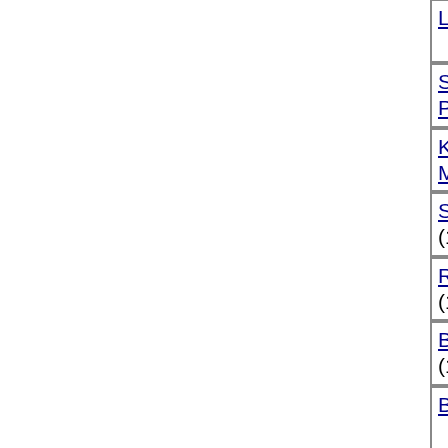| Luciano (170… |
| Strommayer, Peter (1969) |
| Krüger, Michael (183… |
| Stebler, René… (1804) |
| Rapold, Mar… (1772) |
| Barz, Norber… (1764) |
| Begre, Max (… |
| Gerber, Matthias (16… |
| Vuckovic, Nebojsa (161… |